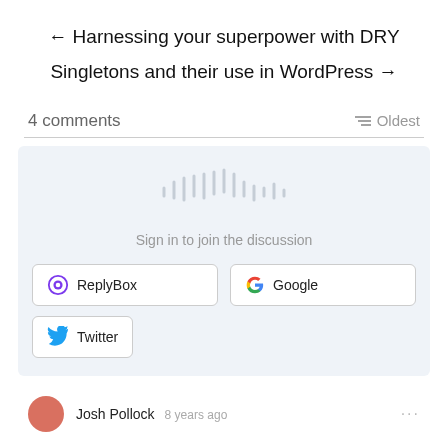← Harnessing your superpower with DRY
Singletons and their use in WordPress →
4 comments
≡ Oldest
[Figure (illustration): Audio waveform graphic (muted/light gray bars) indicating a comment audio/discussion area]
Sign in to join the discussion
ReplyBox
Google
Twitter
Josh Pollock  8 years ago  ...